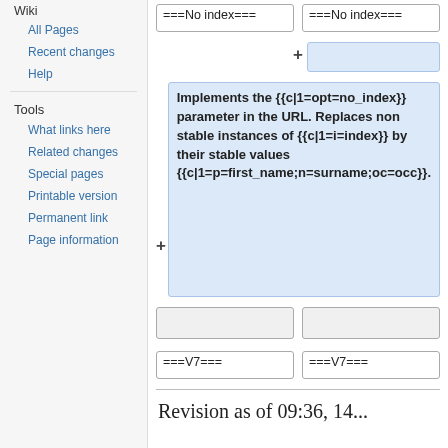Wiki
All Pages
Recent changes
Help
Tools
What links here
Related changes
Special pages
Printable version
Permanent link
Page information
===No index===
===No index===
Implements the {{c|1=opt=no_index}} parameter in the URL. Replaces non stable instances of {{c|1=i=index}} by their stable values {{c|1=p=first_name;n=surname;oc=occ}}.
===V7===
===V7===
Revision as of 09:36, 14...